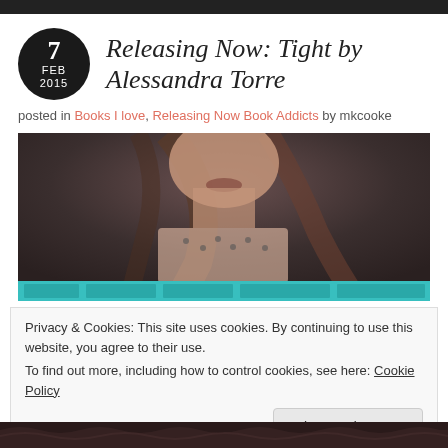Releasing Now: Tight by Alessandra Torre
posted in Books I love, Releasing Now Book Addicts by mkcooke
[Figure (photo): A woman with long hair seen from below the nose, wearing a polka-dot top. Teal/turquoise banner across the bottom of the image.]
Privacy & Cookies: This site uses cookies. By continuing to use this website, you agree to their use.
To find out more, including how to control cookies, see here: Cookie Policy
Close and accept
[Figure (photo): Bottom portion of another photo showing dark lace fabric.]